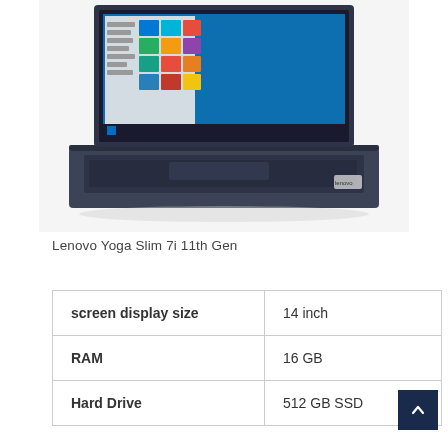[Figure (photo): Lenovo Yoga Slim 7i 11th Gen laptop open, showing Windows 10 Start Menu on screen, dark slate keyboard and body, viewed from slightly above front angle]
Lenovo Yoga Slim 7i 11th Gen
| screen display size | 14 inch |
| RAM | 16 GB |
| Hard Drive | 512 GB SSD |